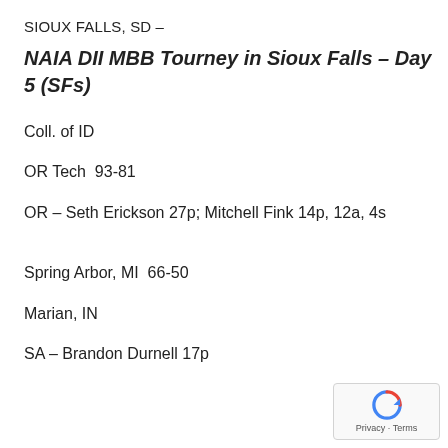SIOUX FALLS, SD –
NAIA DII MBB Tourney in Sioux Falls – Day 5 (SFs)
Coll. of ID
OR Tech  93-81
OR – Seth Erickson 27p; Mitchell Fink 14p, 12a, 4s
Spring Arbor, MI  66-50
Marian, IN
SA – Brandon Durnell 17p